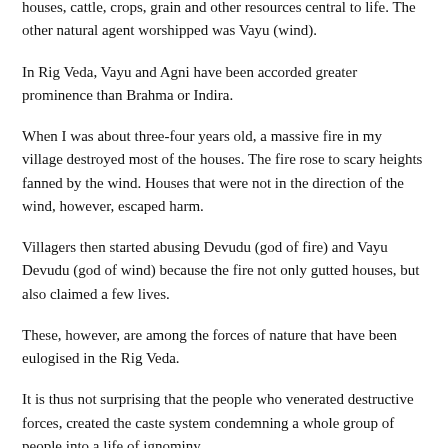houses, cattle, crops, grain and other resources central to life. The other natural agent worshipped was Vayu (wind).
In Rig Veda, Vayu and Agni have been accorded greater prominence than Brahma or Indira.
When I was about three-four years old, a massive fire in my village destroyed most of the houses. The fire rose to scary heights fanned by the wind. Houses that were not in the direction of the wind, however, escaped harm.
Villagers then started abusing Devudu (god of fire) and Vayu Devudu (god of wind) because the fire not only gutted houses, but also claimed a few lives.
These, however, are among the forces of nature that have been eulogised in the Rig Veda.
It is thus not surprising that the people who venerated destructive forces, created the caste system condemning a whole group of people into a life of ignominy.